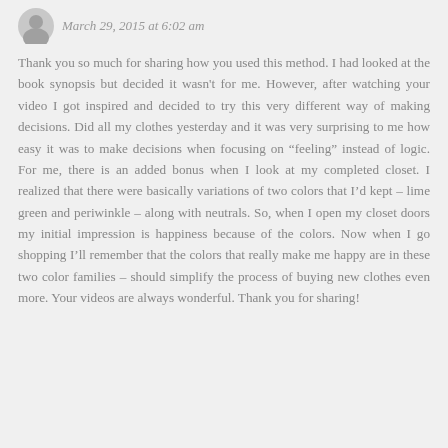March 29, 2015 at 6:02 am
Thank you so much for sharing how you used this method. I had looked at the book synopsis but decided it wasn't for me. However, after watching your video I got inspired and decided to try this very different way of making decisions. Did all my clothes yesterday and it was very surprising to me how easy it was to make decisions when focusing on “feeling” instead of logic. For me, there is an added bonus when I look at my completed closet. I realized that there were basically variations of two colors that I’d kept – lime green and periwinkle – along with neutrals. So, when I open my closet doors my initial impression is happiness because of the colors. Now when I go shopping I’ll remember that the colors that really make me happy are in these two color families – should simplify the process of buying new clothes even more. Your videos are always wonderful. Thank you for sharing!